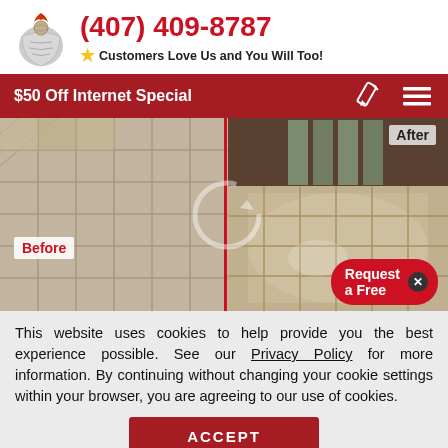[Figure (logo): Knight/shield logo with quill pen on top]
(407) 409-8787
Customers Love Us and You Will Too!
$50 Off Internet Special
[Figure (photo): Before and after photo of floor tile cleaning. Left side shows dull/dirty tiles (Before), right side shows shiny clean tiles (After), split by a red vertical line. A 'Request a Free' button overlay appears at bottom right.]
This website uses cookies to help provide you the best experience possible. See our Privacy Policy for more information. By continuing without changing your cookie settings within your browser, you are agreeing to our use of cookies.
ACCEPT